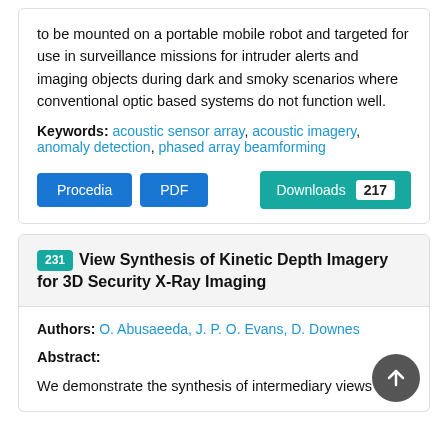to be mounted on a portable mobile robot and targeted for use in surveillance missions for intruder alerts and imaging objects during dark and smoky scenarios where conventional optic based systems do not function well.
Keywords: acoustic sensor array, acoustic imagery, anomaly detection, phased array beamforming
Procedia | PDF | Downloads 217
231 View Synthesis of Kinetic Depth Imagery for 3D Security X-Ray Imaging
Authors: O. Abusaeeda, J. P. O. Evans, D. Downes
Abstract:
We demonstrate the synthesis of intermediary views